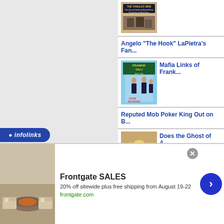[Figure (photo): Book cover: The Tangled Web]
Angelo "The Hook" LaPietra's Fan...
[Figure (photo): Album cover: Frankie Valli and the Four Seasons]
Mafia Links of Frank...
Reputed Mob Poker King Out on B...
[Figure (photo): Interior photo of ornate hotel lobby]
Does the Ghost of A... @BiltmoreHotel?
[Figure (photo): Chicago Outfit book/image thumbnail]
Chicago Mob Infam...
[Figure (photo): Outdoor furniture advertisement photo]
Frontgate SALES
20% off sitewide plus free shipping from August 19-22
frontgate.com